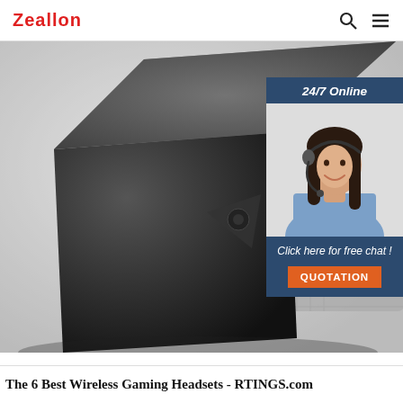Zeallon
[Figure (photo): Close-up photo of a black cube-shaped Bluetooth speaker with fabric mesh grille on a blurred background, with a 24/7 Online customer service ad overlay in the top-right corner showing a woman wearing a headset and an orange QUOTATION button]
The 6 Best Wireless Gaming Headsets - RTINGS.com